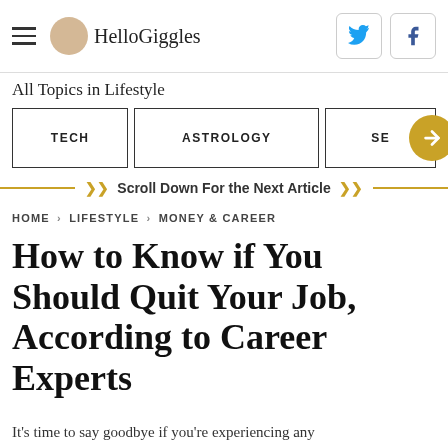HelloGiggles
All Topics in Lifestyle
TECH | ASTROLOGY | SE →
Scroll Down For the Next Article
HOME > LIFESTYLE > MONEY & CAREER
How to Know if You Should Quit Your Job, According to Career Experts
It's time to say goodbye if you're experiencing any of these from…